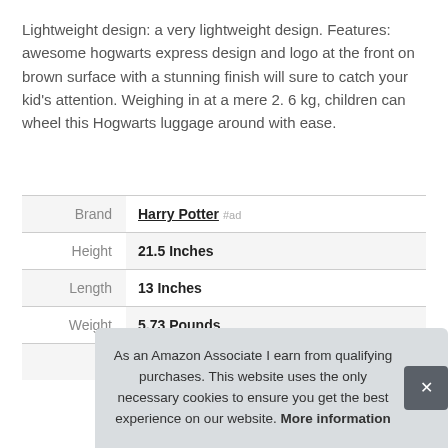Lightweight design: a very lightweight design. Features: awesome hogwarts express design and logo at the front on brown surface with a stunning finish will sure to catch your kid's attention. Weighing in at a mere 2. 6 kg, children can wheel this Hogwarts luggage around with ease.
|  |  |
| --- | --- |
| Brand | Harry Potter #ad |
| Height | 21.5 Inches |
| Length | 13 Inches |
| Weight | 5.73 Pounds |
| P |  |
As an Amazon Associate I earn from qualifying purchases. This website uses the only necessary cookies to ensure you get the best experience on our website. More information